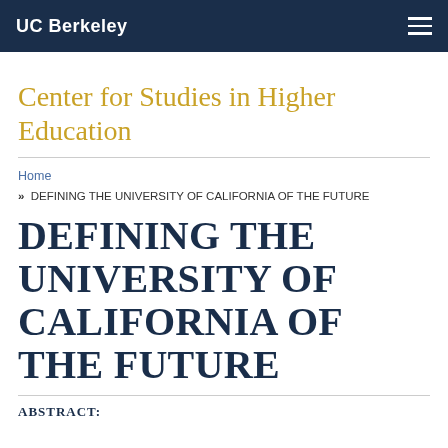UC Berkeley
Center for Studies in Higher Education
Home
» DEFINING THE UNIVERSITY OF CALIFORNIA OF THE FUTURE
DEFINING THE UNIVERSITY OF CALIFORNIA OF THE FUTURE
ABSTRACT: